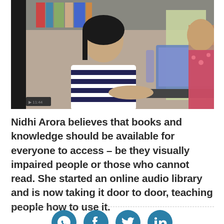[Figure (photo): A woman in a striped shirt sitting at a desk using a laptop computer, viewed in what appears to be a library or office setting. Another person partially visible on the right side.]
Nidhi Arora believes that books and knowledge should be available for everyone to access – be they visually impaired people or those who cannot read. She started an online audio library and is now taking it door to door, teaching people how to use it.
[Figure (other): Social media sharing icons: WhatsApp, Facebook, Twitter, LinkedIn]